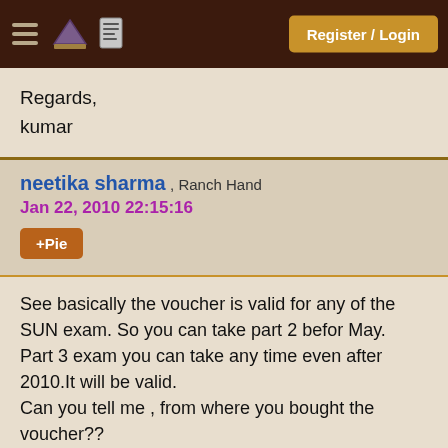Register / Login
Regards,
kumar
neetika sharma , Ranch Hand
Jan 22, 2010 22:15:16
+Pie
See basically the voucher is valid for any of the SUN exam. So you can take part 2 befor May.
Part 3 exam you can take any time even after 2010.It will be valid.
Can you tell me , from where you bought the voucher??
vikram kumar wrote:
Hi,